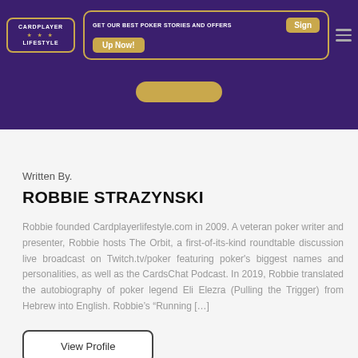CARDPLAYER LIFESTYLE — GET OUR BEST POKER STORIES AND OFFERS Sign Up Now!
[Figure (screenshot): Purple banner with partially visible gold pill button]
Written By.
ROBBIE STRAZYNSKI
Robbie founded Cardplayerlifestyle.com in 2009. A veteran poker writer and presenter, Robbie hosts The Orbit, a first-of-its-kind roundtable discussion live broadcast on Twitch.tv/poker featuring poker's biggest names and personalities, as well as the CardsChat Podcast. In 2019, Robbie translated the autobiography of poker legend Eli Elezra (Pulling the Trigger) from Hebrew into English. Robbie's "Running [...]
View Profile